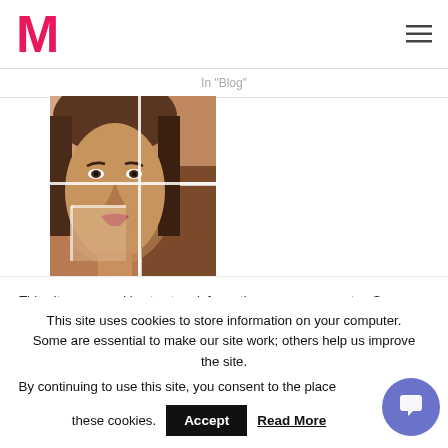M
In Blog
[Figure (photo): Composite photograph showing a woman's face composed of multiple skin-tone panels arranged in a grid mosaic pattern]
Alternatives To Google Adsense For Beauty Blogs.
July 25, 2022
In "Blog"
This site uses cookies to store information on your computer. Some are essential to make our site work; others help us improve the site. By continuing to use this site, you consent to the placement of these cookies.
Accept
Read More